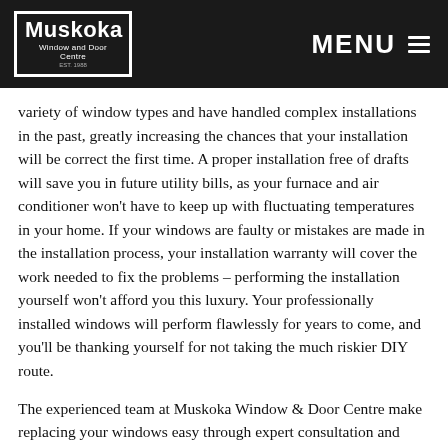Muskoka Window and Door Centre | MENU
variety of window types and have handled complex installations in the past, greatly increasing the chances that your installation will be correct the first time. A proper installation free of drafts will save you in future utility bills, as your furnace and air conditioner won't have to keep up with fluctuating temperatures in your home. If your windows are faulty or mistakes are made in the installation process, your installation warranty will cover the work needed to fix the problems – performing the installation yourself won't afford you this luxury. Your professionally installed windows will perform flawlessly for years to come, and you'll be thanking yourself for not taking the much riskier DIY route.
The experienced team at Muskoka Window & Door Centre make replacing your windows easy through expert consultation and superior product knowledge. No matter